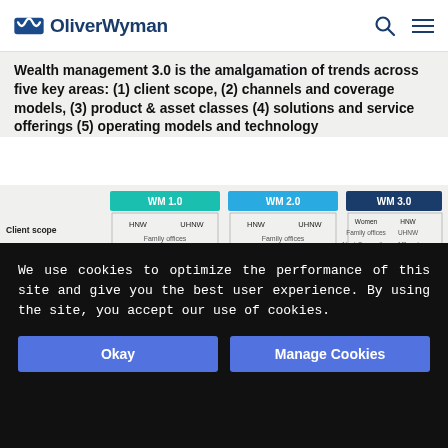OliverWyman
Wealth management 3.0 is the amalgamation of trends across five key areas: (1) client scope, (2) channels and coverage models, (3) product & asset classes (4) solutions and service offerings (5) operating models and technology
[Figure (infographic): Comparison table of WM 1.0, WM 2.0, and WM 3.0 across dimensions including Client scope and Channels/coverage. WM 1.0 shows HNW, UHNW, Family offices. WM 2.0 shows HNW, UHNW, Family offices. WM 3.0 shows Women, HNW, Family offices, UHNW, Next Generation, Affluent. Channels show one model for WM1.0, mainly one model for WM 2.0, and Model 1/2/3 for WM 3.0.]
We use cookies to optimize the performance of this site and give you the best user experience. By using the site, you accept our use of cookies.
Okay
Manage Cookies